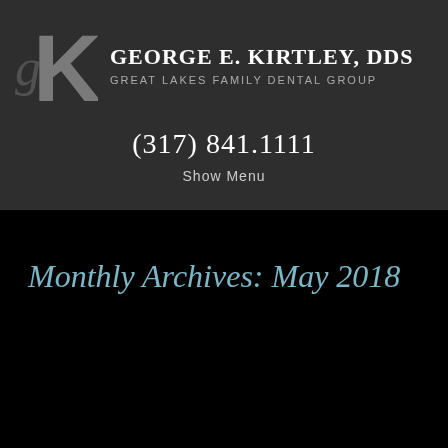[Figure (logo): GK monogram logo - stylized G and K letters in gray tones]
GEORGE E. KIRTLEY, DDS
GREAT LAKES FAMILY DENTAL GROUP
(317) 841.1111
Show Menu
Monthly Archives: May 2018